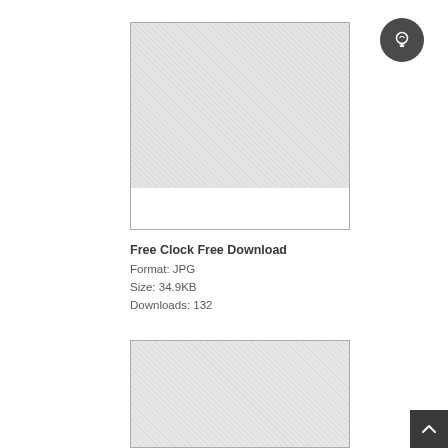[Figure (other): Lightbulb icon button, dark circular background]
[Figure (photo): First image placeholder box with gray hatched pattern and white strip at bottom, bordered rectangle]
Free Clock Free Download
Format: JPG
Size: 34.9KB
Downloads: 132
[Figure (photo): Second image placeholder box with gray hatched pattern, bordered rectangle, partially visible]
[Figure (other): Scroll-to-top button, dark square with upward chevron, bottom-right corner]